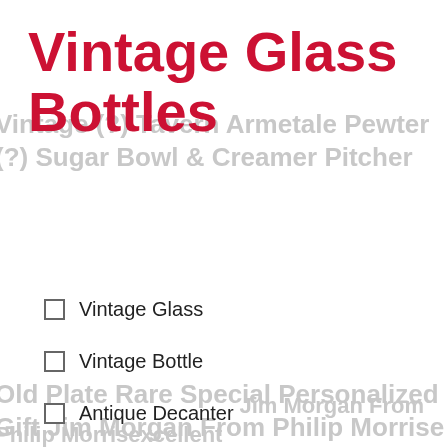Vintage Glass Bottles
Vintage Glass
Vintage Bottle
Antique Decanter
Glass Decanter
Porcelain Decanter
Antique Bottle
Wilton Power Plate Rare Special Personalized Gift Jim Morgan From Philip Morrisexcellent Condition12 Inch
Vintage Rwn Wilton Plough Tavern